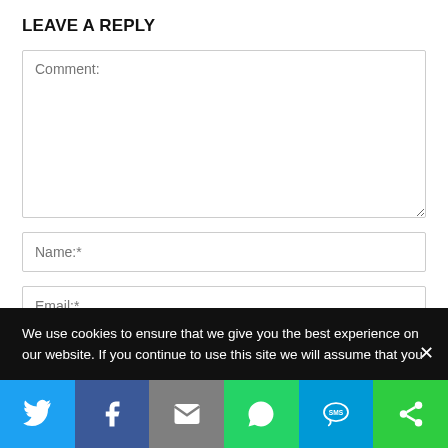LEAVE A REPLY
Comment:
Name:*
Email:*
We use cookies to ensure that we give you the best experience on our website. If you continue to use this site we will assume that you
[Figure (infographic): Social share bar with icons for Twitter, Facebook, Email, WhatsApp, SMS, and More (share) buttons in colored strips at the bottom of the page.]